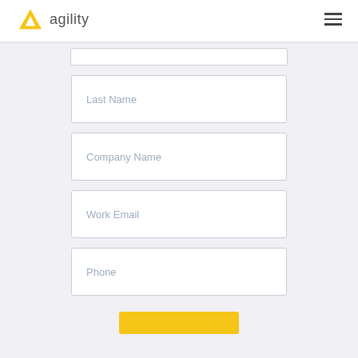agility
[Figure (screenshot): Truncated form field at top (partially visible)]
Last Name
Company Name
Work Email
Phone